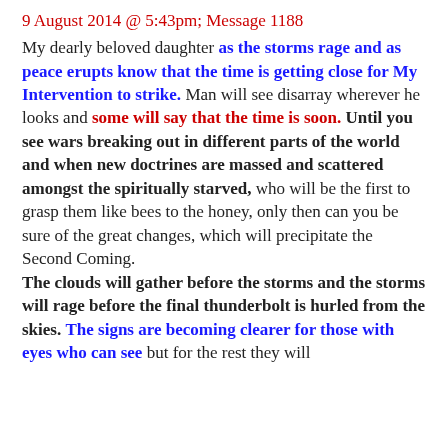9 August 2014 @ 5:43pm; Message 1188
My dearly beloved daughter as the storms rage and as peace erupts know that the time is getting close for My Intervention to strike. Man will see disarray wherever he looks and some will say that the time is soon. Until you see wars breaking out in different parts of the world and when new doctrines are massed and scattered amongst the spiritually starved, who will be the first to grasp them like bees to the honey, only then can you be sure of the great changes, which will precipitate the Second Coming. The clouds will gather before the storms and the storms will rage before the final thunderbolt is hurled from the skies. The signs are becoming clearer for those with eyes who can see but for the rest they will